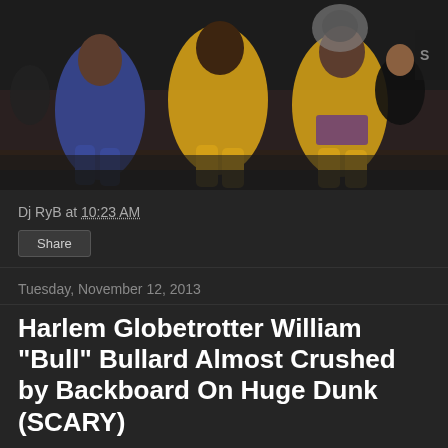[Figure (photo): Basketball game photo showing players in yellow/gold Lakers uniforms and blue uniform competing on court with crowd in background]
Dj RyB at 10:23 AM
Share
Tuesday, November 12, 2013
Harlem Globetrotter William "Bull" Bullard Almost Crushed by Backboard On Huge Dunk (SCARY)
[Figure (screenshot): Dark video embed area at bottom of page]